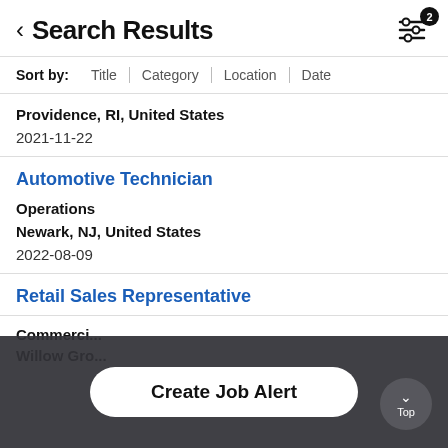Search Results
Sort by: Title | Category | Location | Date
Providence, RI, United States
2021-11-22
Automotive Technician
Operations
Newark, NJ, United States
2022-08-09
Retail Sales Representative
Commerci...
Willow Gro...
Create Job Alert